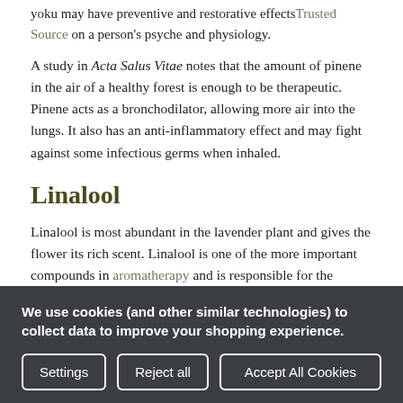yoku may have preventive and restorative effectsTrusted Source on a person's psyche and physiology.
A study in Acta Salus Vitae notes that the amount of pinene in the air of a healthy forest is enough to be therapeutic. Pinene acts as a bronchodilator, allowing more air into the lungs. It also has an anti-inflammatory effect and may fight against some infectious germs when inhaled.
Linalool
Linalool is most abundant in the lavender plant and gives the flower its rich scent. Linalool is one of the more important compounds in aromatherapy and is responsible for the calming effect many people get when smelling lavender or its essential oils.
We use cookies (and other similar technologies) to collect data to improve your shopping experience.
Settings | Reject all | Accept All Cookies